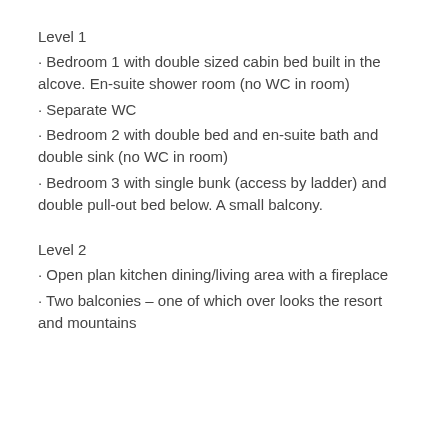Level 1
• Bedroom 1 with double sized cabin bed built in the alcove. En-suite shower room (no WC in room)
• Separate WC
• Bedroom 2 with double bed and en-suite bath and double sink (no WC in room)
• Bedroom 3 with single bunk (access by ladder) and double pull-out bed below. A small balcony.
Level 2
• Open plan kitchen dining/living area with a fireplace
• Two balconies – one of which over looks the resort and mountains